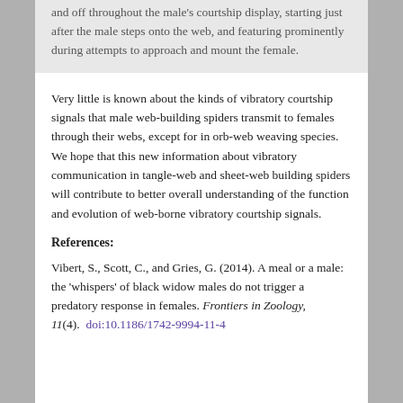and off throughout the male's courtship display, starting just after the male steps onto the web, and featuring prominently during attempts to approach and mount the female.
Very little is known about the kinds of vibratory courtship signals that male web-building spiders transmit to females through their webs, except for in orb-web weaving species. We hope that this new information about vibratory communication in tangle-web and sheet-web building spiders will contribute to better overall understanding of the function and evolution of web-borne vibratory courtship signals.
References:
Vibert, S., Scott, C., and Gries, G. (2014). A meal or a male: the 'whispers' of black widow males do not trigger a predatory response in females. Frontiers in Zoology, 11(4).  doi:10.1186/1742-9994-11-4